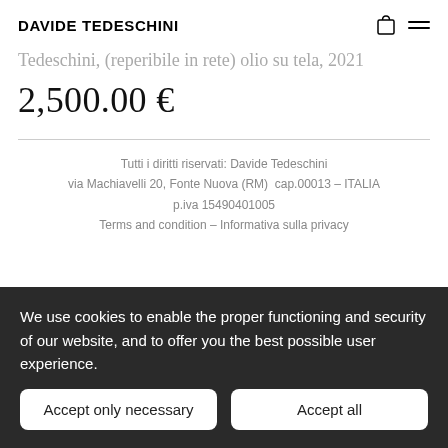DAVIDE TEDESCHINI
Tedeschini, (reperibile in rete) olio su tela, 2021
2,500.00 €
Tutti i diritti riservati: Davide Tedeschini
via Machiavelli 20, Fonte Nuova (RM)  cap.00013 – ITALIA
p.iva 15490401005
Terms and condition – Informativa sulla privacy
We use cookies to enable the proper functioning and security of our website, and to offer you the best possible user experience.